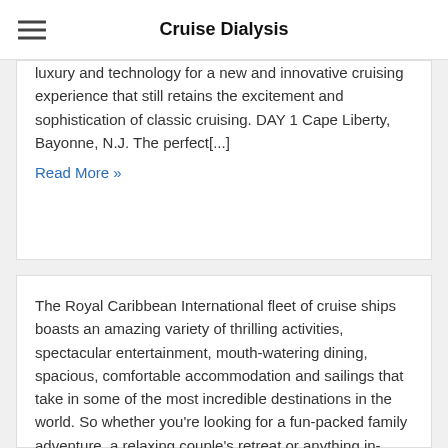Cruise Dialysis
luxury and technology for a new and innovative cruising experience that still retains the excitement and sophistication of classic cruising. DAY 1 Cape Liberty, Bayonne, N.J. The perfect[...]
Read More »
The Royal Caribbean International fleet of cruise ships boasts an amazing variety of thrilling activities, spectacular entertainment, mouth-watering dining, spacious, comfortable accommodation and sailings that take in some of the most incredible destinations in the world. So whether you're looking for a fun-packed family adventure, a relaxing couple's retreat or anything in-between, it's waiting for you onboard one of